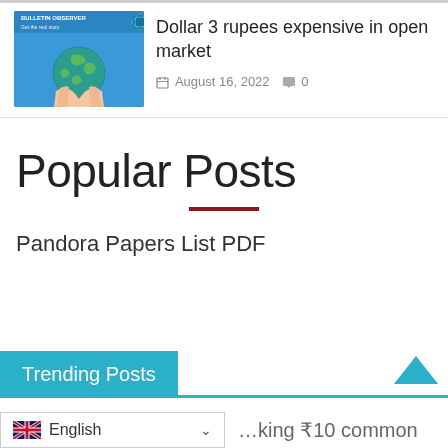[Figure (screenshot): Article card with Bulletin Observer logo thumbnail (globe on hand, blue background) and article title]
Dollar 3 rupees expensive in open market
August 16, 2022  0
Popular Posts
Pandora Papers List PDF
Trending Posts
English